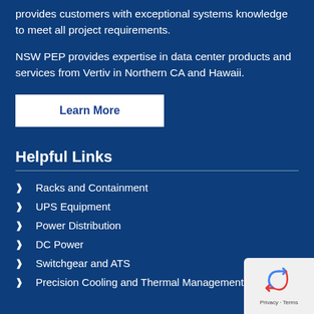provides customers with exceptional systems knowledge to meet all project requirements.
NSW PEP provides expertise in data center products and services from Vertiv in Northern CA and Hawaii.
Learn More
Helpful Links
Racks and Containment
UPS Equipment
Power Distribution
DC Power
Switchgear and ATS
Precision Cooling and Thermal Management
[Figure (logo): reCAPTCHA privacy badge with recycling arrow icon and Privacy · Terms text]